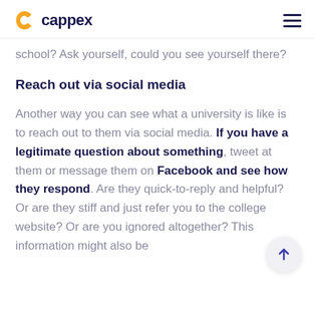cappex
school? Ask yourself, could you see yourself there?
Reach out via social media
Another way you can see what a university is like is to reach out to them via social media. If you have a legitimate question about something, tweet at them or message them on Facebook and see how they respond. Are they quick-to-reply and helpful? Or are they stiff and just refer you to the college website? Or are you ignored altogether? This information might also be